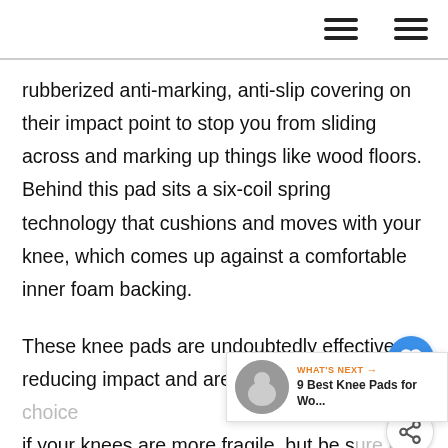rubberized anti-marking, anti-slip covering on their impact point to stop you from sliding across and marking up things like wood floors. Behind this pad sits a six-coil spring technology that cushions and moves with your knee, which comes up against a comfortable inner foam backing.
These knee pads are undoubtedly effective at reducing impact and are therefore a great choice if your knees are more fragile, but be sure to think about whether their protruding design is suitable